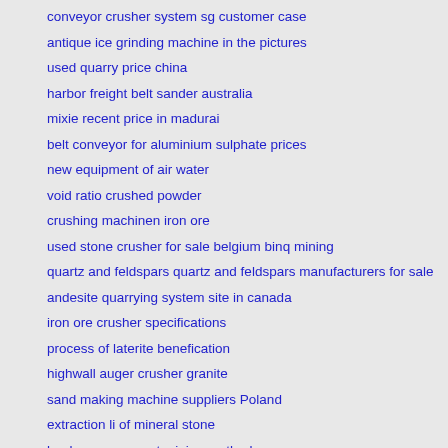conveyor crusher system sg customer case
antique ice grinding machine in the pictures
used quarry price china
harbor freight belt sander australia
mixie recent price in madurai
belt conveyor for aluminium sulphate prices
new equipment of air water
void ratio crushed powder
crushing machinen iron ore
used stone crusher for sale belgium binq mining
quartz and feldspars quartz and feldspars manufacturers for sale
andesite quarrying system site in canada
iron ore crusher specifications
process of laterite benefication
highwall auger crusher granite
sand making machine suppliers Poland
extraction li of mineral stone
books on opencast mining methods
online radio grind metal machine for sale philippines
washing machine degin working principle
installation of crushers price